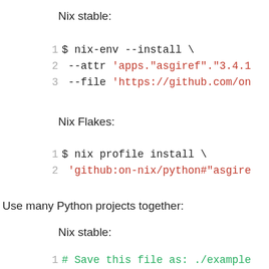Nix stable:
1 $ nix-env --install \
2     --attr 'apps."asgiref"."3.4.1
3     --file 'https://github.com/on
Nix Flakes:
1 $ nix profile install \
2     'github:on-nix/python#"asgire
Use many Python projects together:
Nix stable:
1 # Save this file as: ./example